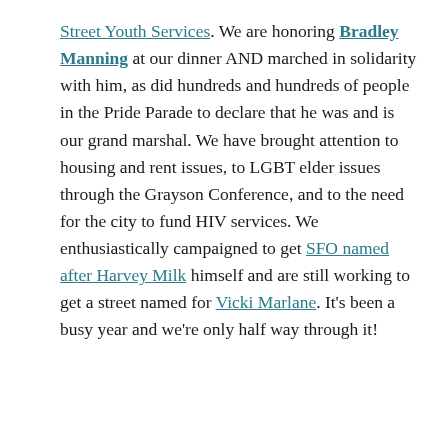Street Youth Services. We are honoring Bradley Manning at our dinner AND marched in solidarity with him, as did hundreds and hundreds of people in the Pride Parade to declare that he was and is our grand marshal. We have brought attention to housing and rent issues, to LGBT elder issues through the Grayson Conference, and to the need for the city to fund HIV services. We enthusiastically campaigned to get SFO named after Harvey Milk himself and are still working to get a street named for Vicki Marlane. It's been a busy year and we're only half way through it!